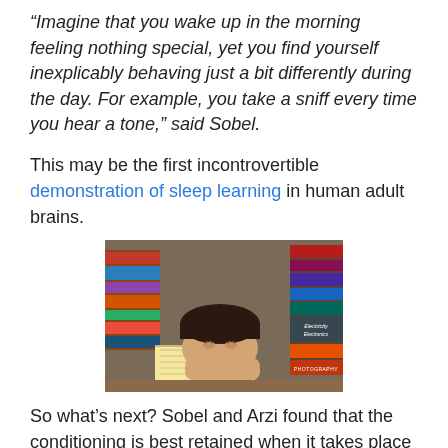“Imagine that you wake up in the morning feeling nothing special, yet you find yourself inexplicably behaving just a bit differently during the day. For example, you take a sniff every time you hear a tone,” said Sobel.
This may be the first incontrovertible demonstration of sleep learning in human adult brains.
[Figure (photo): Person asleep with head resting on an open book, surrounded by stacks of books. Books visible include titles about Electricity and Electronics, Photography, and others.]
So what’s next? Sobel and Arzi found that the conditioning is best retained when it takes place during non-REM sleep and plan to explore this further.  Whether or not they find the magic connection that will one day enable us to memorize the periodic table as we sleep, finding proof for